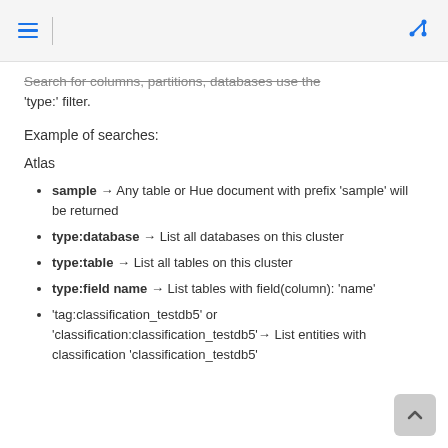Search for columns, partitions, databases use the 'type:' filter.
Example of searches:
Atlas
sample → Any table or Hue document with prefix 'sample' will be returned
type:database → List all databases on this cluster
type:table → List all tables on this cluster
type:field name → List tables with field(column): 'name'
'tag:classification_testdb5' or 'classification:classification_testdb5'→ List entities with classification 'classification_testdb5'